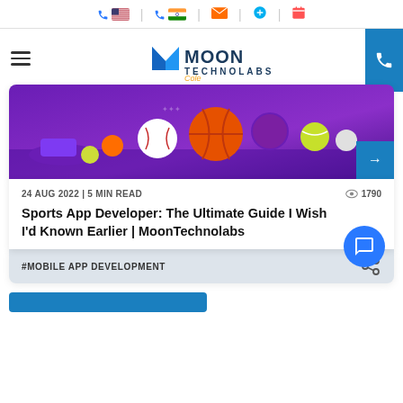Contact icons: US phone, India phone, email, Skype, calendar
[Figure (logo): Moon Technolabs logo with stylized M icon and tagline 'Cole']
[Figure (photo): Sports app banner image with various sports balls (basketball, baseball, tennis ball, etc.) on a purple gradient background]
24 AUG 2022 | 5 MIN READ
1790
Sports App Developer: The Ultimate Guide I Wish I'd Known Earlier | MoonTechnolabs
#MOBILE APP DEVELOPMENT